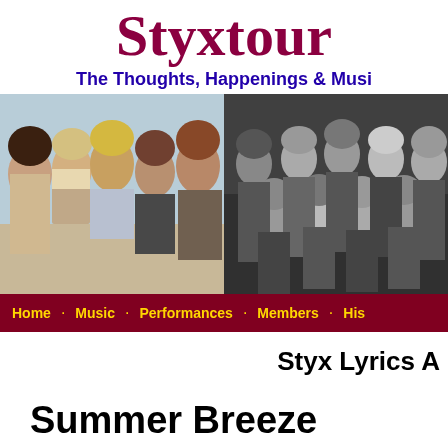Styxtour
The Thoughts, Happenings & Musi
[Figure (photo): Two band photos side by side: left is a color photo of the classic Styx lineup with 5 members, right is a black and white photo of the current band members]
Home · Music · Performances · Members · His
Styx Lyrics A
Summer Breeze